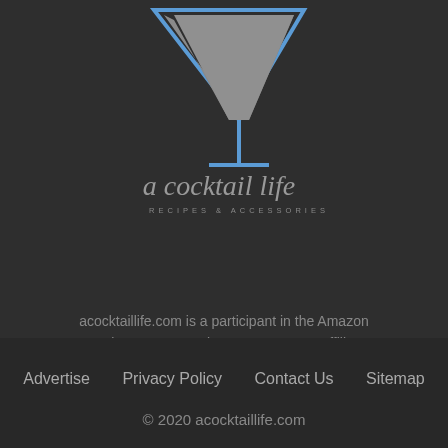[Figure (logo): A cocktail life logo with martini glass in blue outline and grey fill, script text 'a cocktail life' and subtitle 'RECIPES & ACCESSORIES']
acocktaillife.com is a participant in the Amazon Services LLC Associates Program, an affiliate advertising program designed to provide a means for sites to earn advertising fees by advertising and linking to amazon.com
Advertise   Privacy Policy   Contact Us   Sitemap
© 2020 acocktaillife.com